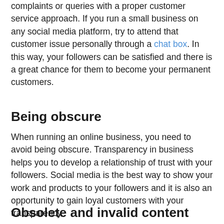complaints or queries with a proper customer service approach. If you run a small business on any social media platform, try to attend that customer issue personally through a chat box. In this way, your followers can be satisfied and there is a great chance for them to become your permanent customers.
Being obscure
When running an online business, you need to avoid being obscure. Transparency in business helps you to develop a relationship of trust with your followers. Social media is the best way to show your work and products to your followers and it is also an opportunity to gain loyal customers with your transparency.
Obsolete and invalid content